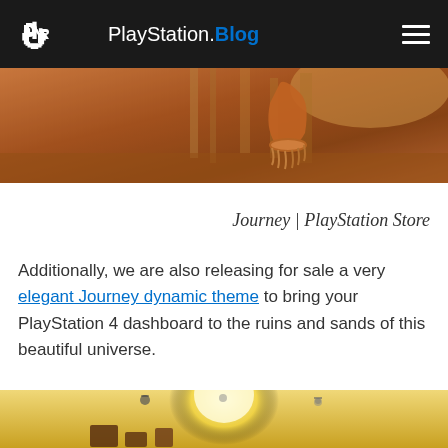PlayStation.Blog
[Figure (photo): Screenshot from the game Journey showing a conical figure in a warm sandy desert environment]
Journey | PlayStation Store
Additionally, we are also releasing for sale a very elegant Journey dynamic theme to bring your PlayStation 4 dashboard to the ruins and sands of this beautiful universe.
[Figure (screenshot): Bottom portion of another Journey screenshot showing warm golden desert environment with icons]